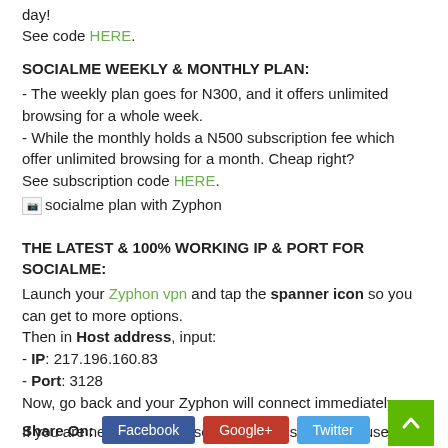day! See code HERE.
SOCIALME WEEKLY & MONTHLY PLAN:
- The weekly plan goes for N300, and it offers unlimited browsing for a whole week.
- While the monthly holds a N500 subscription fee which offer unlimited browsing for a month. Cheap right?
See subscription code HERE.
[Figure (illustration): Broken image placeholder with alt text 'socialme plan with Zyphon']
THE LATEST & 100% WORKING IP & PORT FOR SOCIALME:
Launch your Zyphon vpn and tap the spanner icon so you can get to more options.
Then in Host address, input:
- IP: 217.196.160.83
- Port: 3128
Now, go back and your Zyphon will connect immediately.
If you are new to zyphon, see full settings here, but use this ip nd port.
Kindly share this post and don't forget to tell us how it went.
Share On: Facebook Google+ Twitter